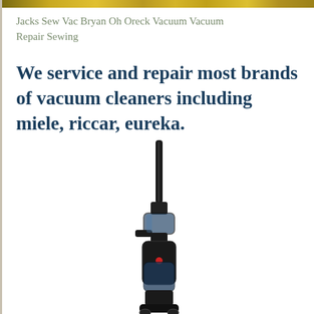Jacks Sew Vac Bryan Oh Oreck Vacuum Vacuum Repair Sewing
We service and repair most brands of vacuum cleaners including miele, riccar, eureka.
[Figure (photo): An upright vacuum cleaner (dark/black colored, with transparent dust canister and a long vertical wand/handle) shown against a white background.]